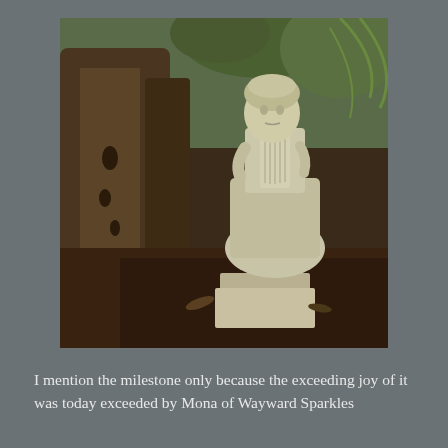[Figure (photo): A stone garden statue of a young girl in old-fashioned dress, holding a harp-like instrument, standing on a rectangular stone base. Behind the statue is a large tree with exposed roots and tropical foliage.]
I mention the milestone only because the exceeding joy of it was today exceeded by Mona of Wayward Sparkles